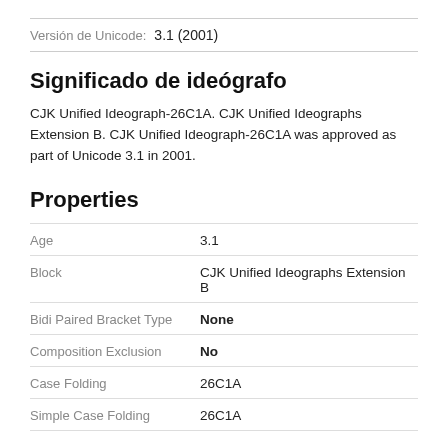Versión de Unicode: 3.1 (2001)
Significado de ideógrafo
CJK Unified Ideograph-26C1A. CJK Unified Ideographs Extension B. CJK Unified Ideograph-26C1A was approved as part of Unicode 3.1 in 2001.
Properties
| Property | Value |
| --- | --- |
| Age | 3.1 |
| Block | CJK Unified Ideographs Extension B |
| Bidi Paired Bracket Type | None |
| Composition Exclusion | No |
| Case Folding | 26C1A |
| Simple Case Folding | 26C1A |